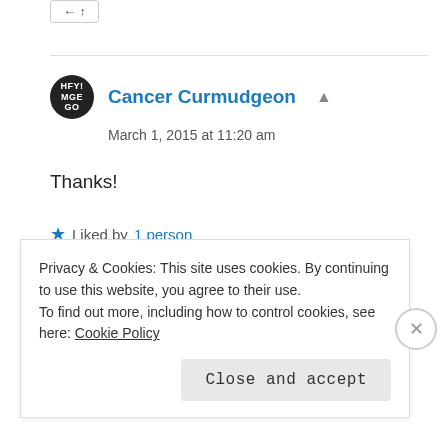← ↑
Cancer Curmudgeon
March 1, 2015 at 11:20 am
Thanks!
Liked by 1 person
Reply
Privacy & Cookies: This site uses cookies. By continuing to use this website, you agree to their use. To find out more, including how to control cookies, see here: Cookie Policy
Close and accept